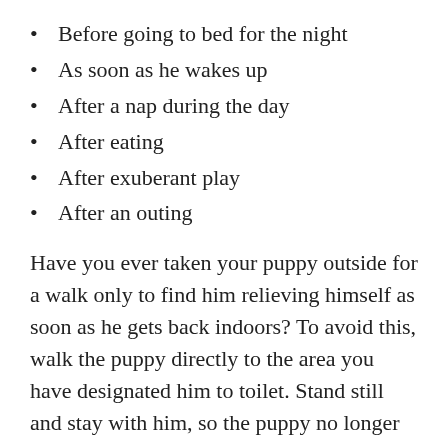Before going to bed for the night
As soon as he wakes up
After a nap during the day
After eating
After exuberant play
After an outing
Have you ever taken your puppy outside for a walk only to find him relieving himself as soon as he gets back indoors? To avoid this, walk the puppy directly to the area you have designated him to toilet. Stand still and stay with him, so the puppy no longer shows interest in you. Do not sit down as this will only encourage the pup to jump on you and forget what he is out there for. Praise him if he performs. NEVER scold or rub